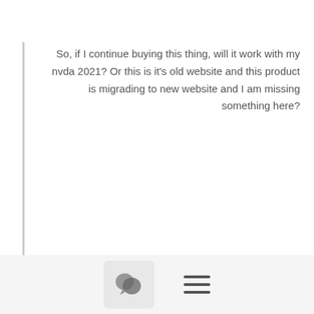So, if I continue buying this thing, will it work with my nvda 2021? Or this is it's old website and this product is migrading to new website and I am missing something here?
The Vocalizer Expressive is already compatible with NVDA 2021.2 and will keep compatibility with new versions...
I know the code factory  version, but unfortunately for that